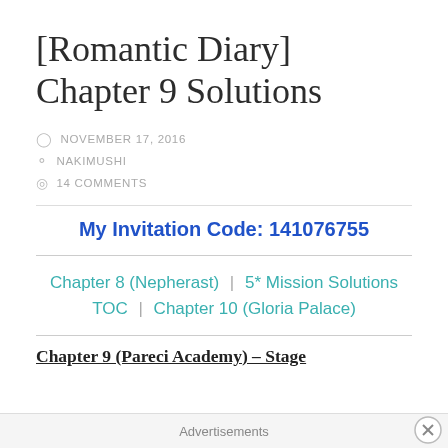[Romantic Diary] Chapter 9 Solutions
NOVEMBER 17, 2016
NAKIMUSHI
14 COMMENTS
My Invitation Code: 141076755
Chapter 8 (Nepherast)  |  5* Mission Solutions  TOC  |  Chapter 10 (Gloria Palace)
Chapter 9 (Pareci Academy) – Stage